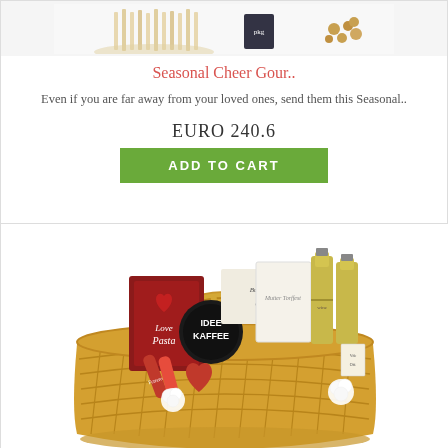[Figure (photo): Product photo showing pasta/food items on white background, partially cropped at top]
Seasonal Cheer Gour..
Even if you are far away from your loved ones, send them this Seasonal..
EURO 240.6
ADD TO CART
[Figure (photo): Wicker gift basket filled with gourmet items including IDEE KAFFEE coffee, wine bottles, pasta, chocolates, Butter cookies, and white roses]